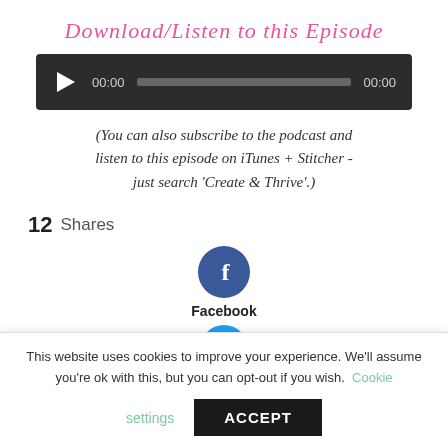Download/Listen to this Episode
[Figure (other): Audio player widget with dark background, play button, time display 00:00, progress bar, and end time 00:00]
(You can also subscribe to the podcast and listen to this episode on iTunes + Stitcher - just search 'Create & Thrive'.)
12 Shares
[Figure (other): Facebook share button - blue circle with white f letter and Facebook label below]
This website uses cookies to improve your experience. We'll assume you're ok with this, but you can opt-out if you wish. Cookie settings ACCEPT